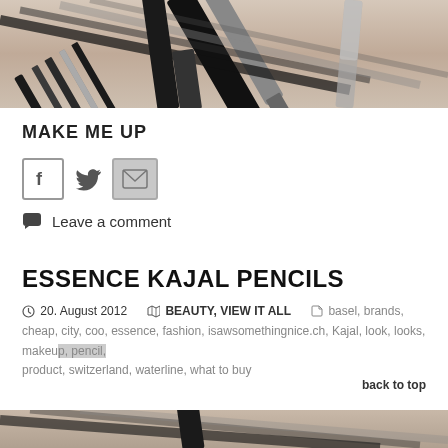[Figure (photo): Photo of makeup pencils/eyeliners arranged diagonally on a light surface, dark pencil tips visible]
MAKE ME UP
[Figure (infographic): Social sharing icons: Facebook, Twitter, Email/envelope]
Leave a comment
ESSENCE KAJAL PENCILS
20. August 2012   BEAUTY, VIEW IT ALL   basel, brands, cheap, city, coo, essence, fashion, isawsomethingnice.ch, Kajal, look, looks, makeup, pencil, product, switzerland, waterline, what to buy
back to top
[Figure (photo): Bottom portion of another photo of makeup pencils, partially visible]